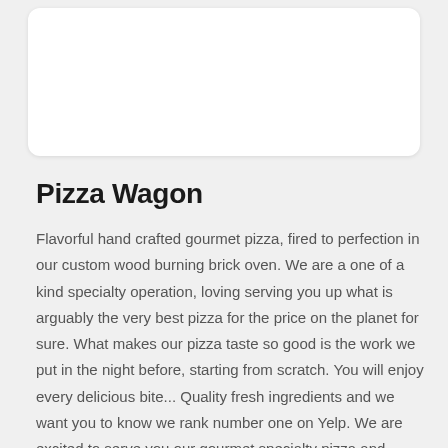[Figure (other): White rounded card/panel at the top of the page, partially visible]
Pizza Wagon
Flavorful hand crafted gourmet pizza, fired to perfection in our custom wood burning brick oven. We are a one of a kind specialty operation, loving serving you up what is arguably the very best pizza for the price on the planet for sure. What makes our pizza taste so good is the work we put in the night before, starting from scratch. You will enjoy every delicious bite... Quality fresh ingredients and we want you to know we rank number one on Yelp. We are excited to serve you our gourmet specialty pizza and special thanks to our regular customers who come by all the time. It makes us feel real good that we are one big happy family, serving pizza. Stop by or order ahead for pick up.